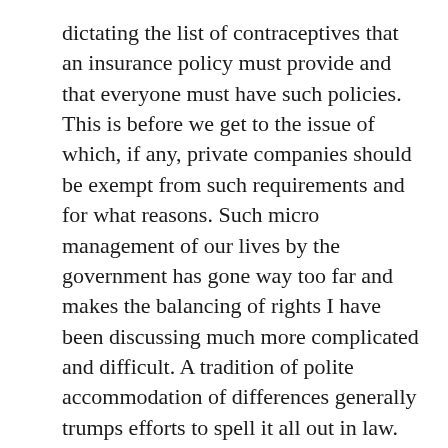dictating the list of contraceptives that an insurance policy must provide and that everyone must have such policies. This is before we get to the issue of which, if any, private companies should be exempt from such requirements and for what reasons. Such micro management of our lives by the government has gone way too far and makes the balancing of rights I have been discussing much more complicated and difficult. A tradition of polite accommodation of differences generally trumps efforts to spell it all out in law.
Marriage equality, i.e., extending the same right to marry enjoyed by heterosexual couples, takes away no rights from traditional